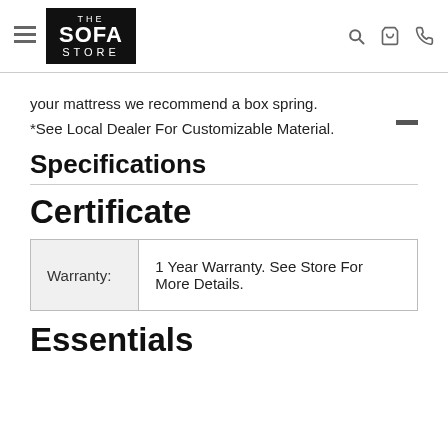THE SOFA STORE [navigation header with hamburger menu, logo, search, cart, phone icons]
your mattress we recommend a box spring.
*See Local Dealer For Customizable Material.
Specifications
Certificate
| Warranty: |  |
| --- | --- |
| Warranty: | 1 Year Warranty. See Store For More Details. |
Essentials